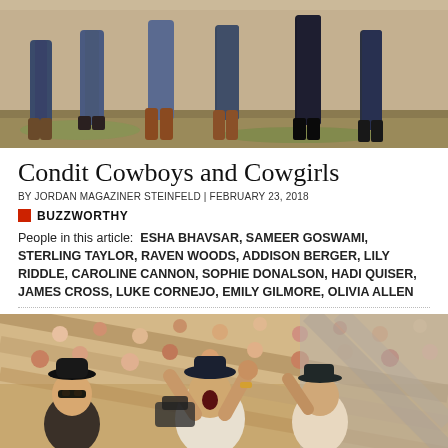[Figure (photo): Top photo showing lower halves/legs of several people standing outdoors, wearing jeans and boots on grass/dirt ground.]
Condit Cowboys and Cowgirls
BY JORDAN MAGAZINER STEINFELD | FEBRUARY 23, 2018
BUZZWORTHY
People in this article: ESHA BHAVSAR, SAMEER GOSWAMI, STERLING TAYLOR, RAVEN WOODS, ADDISON BERGER, LILY RIDDLE, CAROLINE CANNON, SOPHIE DONALSON, HADI QUISER, JAMES CROSS, LUKE CORNEJO, EMILY GILMORE, OLIVIA ALLEN
[Figure (photo): Photo of a crowd at an event, people cheering with arms raised, person in center with mouth open cheering, stands visible in background.]
Social sharing bar with Facebook, Twitter, Pinterest, Email, and More buttons